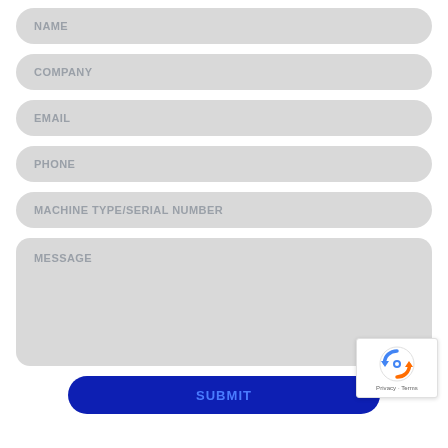NAME
COMPANY
EMAIL
PHONE
MACHINE TYPE/SERIAL NUMBER
MESSAGE
[Figure (other): reCAPTCHA badge with Privacy and Terms links]
SUBMIT